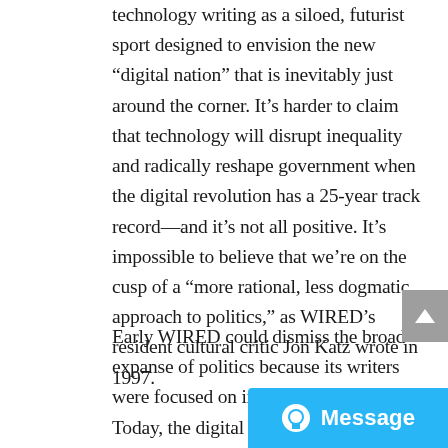technology writing as a siloed, futurist sport designed to envision the new “digital nation” that is inevitably just around the corner. It’s harder to claim that technology will disrupt inequality and radically reshape government when the digital revolution has a 25-year track record—and it’s not all positive. It’s impossible to believe that we’re on the cusp of a “more rational, less dogmatic approach to politics,” as WIRED’s resident cultural critic Jon Katz wrote in 1997.
Early WIRED could dismiss the broad expanse of politics because its writers were focused on imagining the future. Today, the digital revolution is upon us, so WIRED faces a larger task: helping readers understand what
[Figure (screenshot): A blue 'Message' button in the bottom-right corner with a chat bubble icon and the word 'Message' in white text. Above it is a grey scroll-to-top arrow button.]